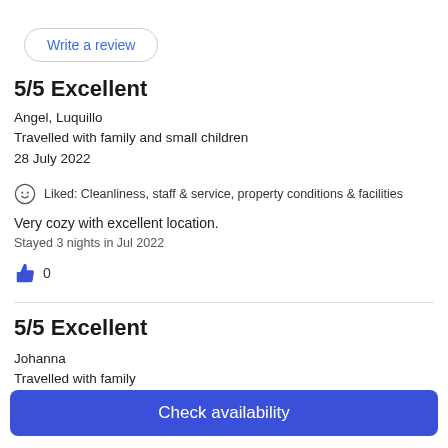Write a review
5/5 Excellent
Angel, Luquillo
Travelled with family and small children
28 July 2022
Liked: Cleanliness, staff & service, property conditions & facilities
Very cozy with excellent location.
Stayed 3 nights in Jul 2022
0
5/5 Excellent
Johanna
Travelled with family
Check availability